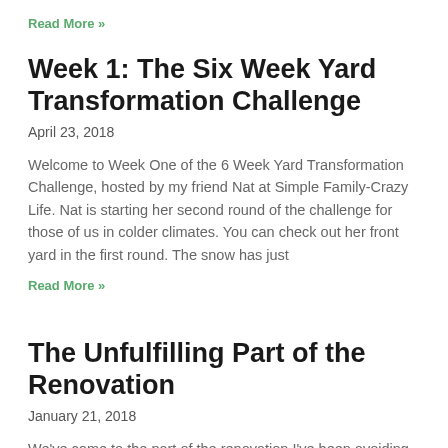Read More »
Week 1: The Six Week Yard Transformation Challenge
April 23, 2018
Welcome to Week One of the 6 Week Yard Transformation Challenge, hosted by my friend Nat at Simple Family-Crazy Life. Nat is starting her second round of the challenge for those of us in colder climates. You can check out her front yard in the first round. The snow has just
Read More »
The Unfulfilling Part of the Renovation
January 21, 2018
We've come to the part of the renovation I've been avoiding. It doesn't cost a lot of money (thankfully!) but it's really thankless. It's time to deal with the ceilings.